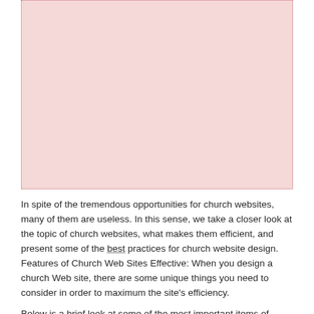[Figure (other): Large pink/light-red rectangular box with dotted border, likely a placeholder for an image]
In spite of the tremendous opportunities for church websites, many of them are useless. In this sense, we take a closer look at the topic of church websites, what makes them efficient, and present some of the best practices for church website design. Features of Church Web Sites Effective: When you design a church Web site, there are some unique things you need to consider in order to maximum the site's efficiency.
Below is a brief look at some of the most important items of